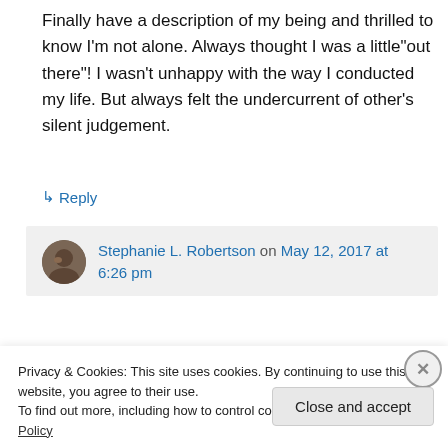Finally have a description of my being and thrilled to know I'm not alone. Always thought I was a little"out there"! I wasn't unhappy with the way I conducted my life. But always felt the undercurrent of other's silent judgement.
↳ Reply
Stephanie L. Robertson on May 12, 2017 at 6:26 pm
Privacy & Cookies: This site uses cookies. By continuing to use this website, you agree to their use.
To find out more, including how to control cookies, see here: Cookie Policy
Close and accept